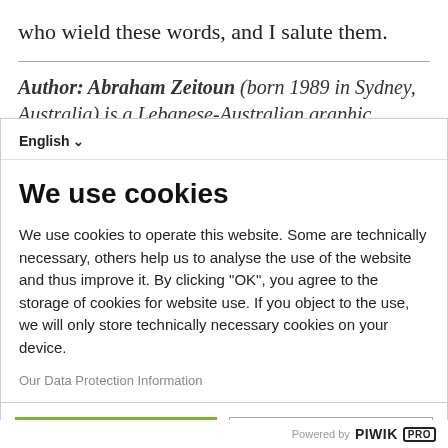who wield these words, and I salute them.
Author: Abraham Zeitoun (born 1989 in Sydney, Australia) is a Lebanese-Australian graphic designer
[Figure (screenshot): Cookie consent overlay dialog with language selector showing 'English', title 'We use cookies', body text about cookie usage, 'Our Data Protection Information' link, and two buttons: 'OK' (green) and 'No, thank you' (white/outlined). Powered by PIWIK PRO footer.]